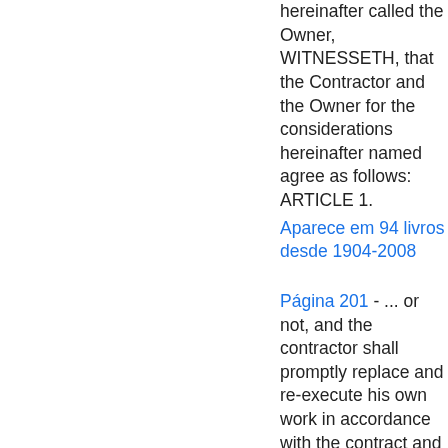hereinafter called the Owner, WITNESSETH, that the Contractor and the Owner for the considerations hereinafter named agree as follows: ARTICLE 1.
Aparece em 94 livros desde 1904-2008
Página 201 - ... or not, and the contractor shall promptly replace and re-execute his own work in accordance with the contract and without expense to the owner and shall bear the expense of making good all work of other contractors destroyed or damaged by such removal or replacement. If the contractor does